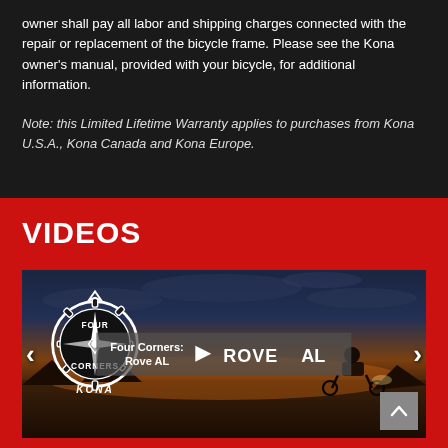owner shall pay all labor and shipping charges connected with the repair or replacement of the bicycle frame. Please see the Kona owner's manual, provided with your bicycle, for additional information.
Note: this Limited Lifetime Warranty applies to purchases from Kona U.S.A., Kona Canada and Kona Europe.
VIDEOS
[Figure (photo): Video thumbnail showing a cyclist riding at dusk/sunset with a dramatic cloudy sky. Overlay shows the 'Four Corners: Rove AL' Kona video title with play button, navigation arrows, and Kona Four Corners logo.]